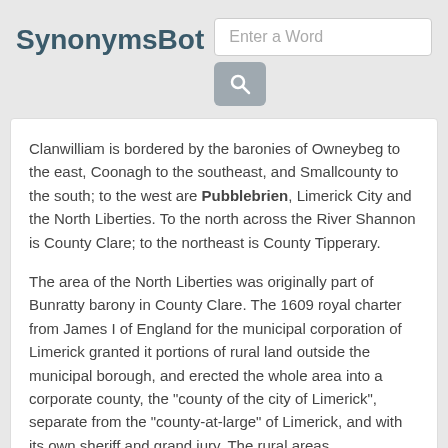SynonymsBot
Clanwilliam is bordered by the baronies of Owneybeg to the east, Coonagh to the southeast, and Smallcounty to the south; to the west are Pubblebrien, Limerick City and the North Liberties. To the north across the River Shannon is County Clare; to the northeast is County Tipperary.
The area of the North Liberties was originally part of Bunratty barony in County Clare. The 1609 royal charter from James I of England for the municipal corporation of Limerick granted it portions of rural land outside the municipal borough, and erected the whole area into a corporate county, the "county of the city of Limerick", separate from the "county-at-large" of Limerick, and with its own sheriff and grand jury. The rural areas,
Copyright © 2017 SynonymsBot